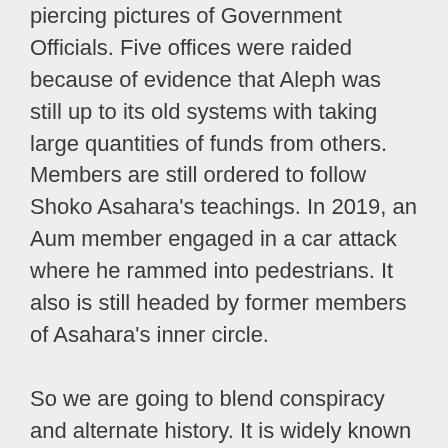piercing pictures of Government Officials. Five offices were raided because of evidence that Aleph was still up to its old systems with taking large quantities of funds from others. Members are still ordered to follow Shoko Asahara's teachings. In 2019, an Aum member engaged in a car attack where he rammed into pedestrians. It also is still headed by former members of Asahara's inner circle.
So we are going to blend conspiracy and alternate history. It is widely known that Aum Shinrikyo had an interest in acquiring nuclear weapons. They had recruited at least two former Russian Scientists. They